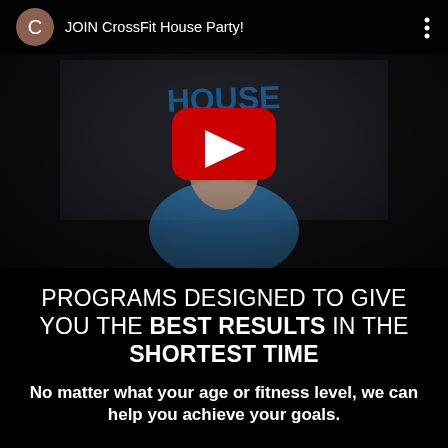[Figure (screenshot): YouTube-style video player showing a man in a CrossFit House Party shirt sitting in front of a CrossFit House Party banner. The video header shows a brownish-red avatar with 'C', the title 'JOIN CrossFit House Party!', and a three-dot menu. A red play button is centered on the video.]
PROGRAMS DESIGNED TO GIVE YOU THE BEST RESULTS IN THE SHORTEST TIME
No matter what your age or fitness level, we can help you achieve your goals.